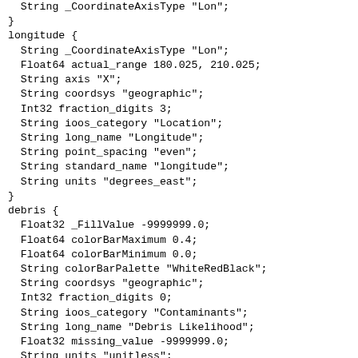String _CoordinateAxisType "Lon";
  Float64 actual_range 180.025, 210.025;
  String axis "X";
  String coordsys "geographic";
  Int32 fraction_digits 3;
  String ioos_category "Location";
  String long_name "Longitude";
  String point_spacing "even";
  String standard_name "longitude";
  String units "degrees_east";
}
longitude {
  String _CoordinateAxisType "Lon";
  Float64 actual_range 180.025, 210.025;
  String axis "X";
  String coordsys "geographic";
  Int32 fraction_digits 3;
  String ioos_category "Location";
  String long_name "Longitude";
  String point_spacing "even";
  String standard_name "longitude";
  String units "degrees_east";
}
debris {
  Float32 _FillValue -9999999.0;
  Float64 colorBarMaximum 0.4;
  Float64 colorBarMinimum 0.0;
  String colorBarPalette "WhiteRedBlack";
  String coordsys "geographic";
  Int32 fraction_digits 0;
  String ioos_category "Contaminants";
  String long_name "Debris Likelihood";
  Float32 missing_value -9999999.0;
  String units "unitless";
}